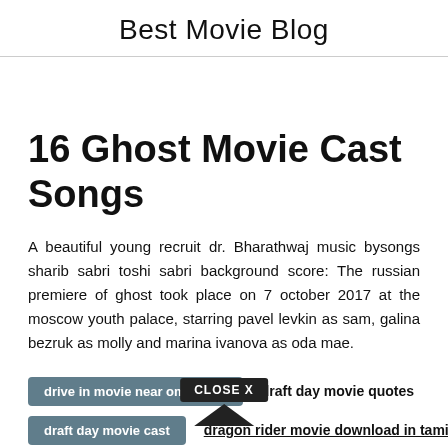Best Movie Blog
16 Ghost Movie Cast Songs
A beautiful young recruit dr. Bharathwaj music bysongs sharib sabri toshi sabri background score: The russian premiere of ghost took place on 7 october 2017 at the moscow youth palace, starring pavel levkin as sam, galina bezruk as molly and marina ivanova as oda mae.
drive in movie near omaha ne
draft day movie quotes
draft day movie cast
dragon rider movie download in tamil